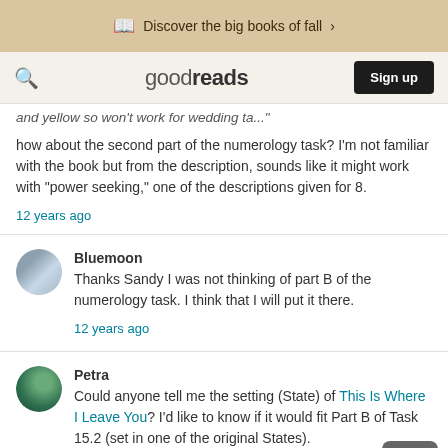Discover the big books of fall  >
goodreads  Sign up
and yellow so won't work for wedding ta..."
how about the second part of the numerology task? I'm not familiar with the book but from the description, sounds like it might work with "power seeking," one of the descriptions given for 8.
12 years ago
Bluemoon Thanks Sandy I was not thinking of part B of the numerology task. I think that I will put it there.
12 years ago
Petra Could anyone tell me the setting (State) of This Is Where I Leave You? I'd like to know if it would fit Part B of Task 15.2 (set in one of the original States). I asked in that thread as well and thought there might be some extra visibility here.